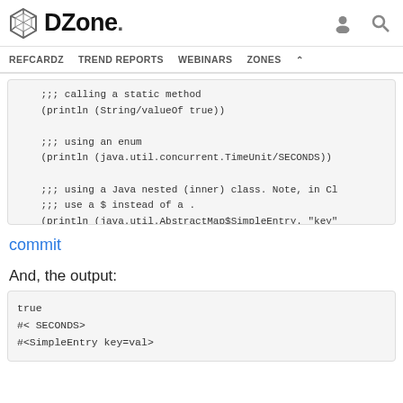DZone. [user icon] [search icon] REFCARDZ TREND REPORTS WEBINARS ZONES
;;; calling a static method
(println (String/valueOf true))

;;; using an enum
(println (java.util.concurrent.TimeUnit/SECONDS))

;;; using a Java nested (inner) class. Note, in Cl
;;; use a $ instead of a .
(println (java.util.AbstractMap$SimpleEntry. "key"
commit
And, the output:
true
#< SECONDS>
#<SimpleEntry key=val>